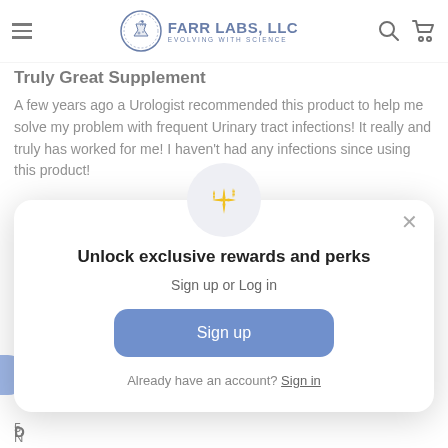FARR LABS, LLC — EVOLVING WITH SCIENCE
Truly Great Supplement
A few years ago a Urologist recommended this product to help me solve my problem with frequent Urinary tract infections! It really and truly has worked for me! I haven't had any infections since using this product!
[Figure (screenshot): Modal popup: Unlock exclusive rewards and perks. Sign up or Log in. Sign up button. Already have an account? Sign in.]